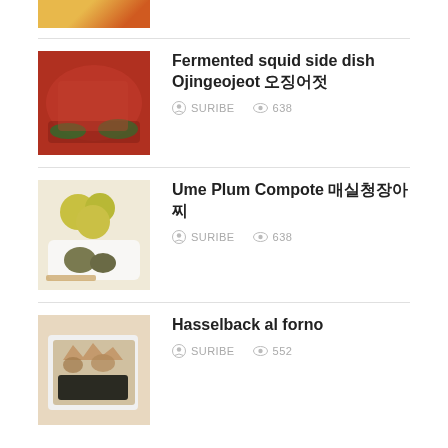[Figure (photo): Partial view of a food dish with colorful vegetables at the top of the page]
Fermented squid side dish Ojingeojeot 오징어젓  SURIBE  638
Ume Plum Compote 매실청장아찌  SURIBE  638
Hasselback al forno  SURIBE  552